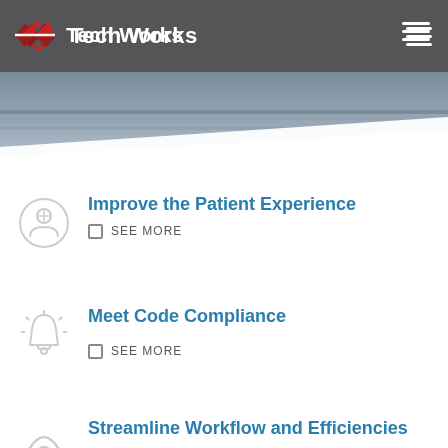Tech Works
[Figure (screenshot): Hero banner image showing a blurred interior corridor/hallway with diagonal white overlay at the bottom]
Improve the Patient Experience
SEE MORE
Meet Code Compliance
SEE MORE
Streamline Workflow and Efficiencies
SEE MORE